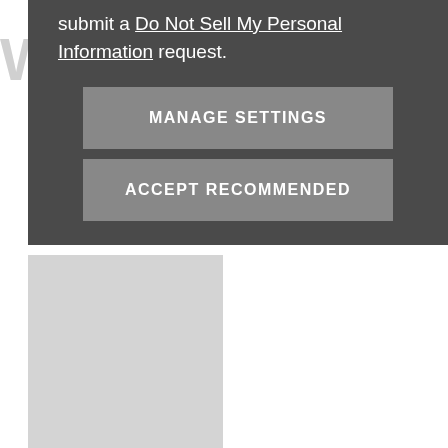submit a Do Not Sell My Personal Information request.
MANAGE SETTINGS
ACCEPT RECOMMENDED
[Figure (screenshot): White page background with light gray left sidebar panel visible below the modal overlay]